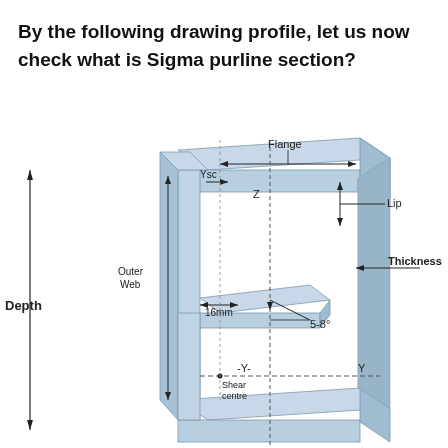By the following drawing profile, let us now check what is Sigma purline section?
[Figure (engineering-diagram): Cross-sectional engineering diagram of a Sigma purline section showing labeled parts: Flange (top horizontal), Lip (short vertical at top right), Outer Web (tall vertical left side), Thickness (arrow pointing to wall thickness), 16mm (dimension at inner ledge), 5-8° (angle of inner stiffener), Z axis (vertical center line), Y-Y axis (horizontal through shear centre), Ysc (horizontal distance to shear centre), Depth (total height arrow on far left), Shear centre (label at Y-Y intersection). The 3D rendered section shows a sigma/Z-profile in light blue/grey steel.]